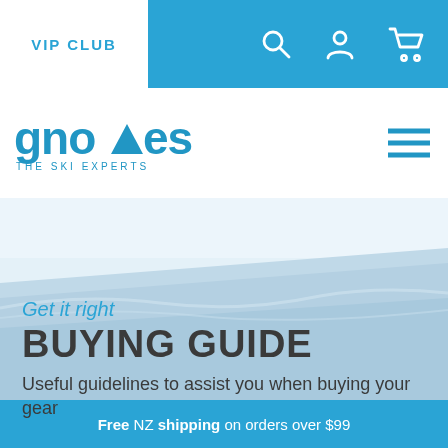VIP CLUB
[Figure (logo): Gnomes The Ski Experts logo in blue]
[Figure (photo): Snowy ski slope hero image with blue-white color palette]
Get it right
BUYING GUIDE
Useful guidelines to assist you when buying your gear
Free NZ shipping on orders over $99